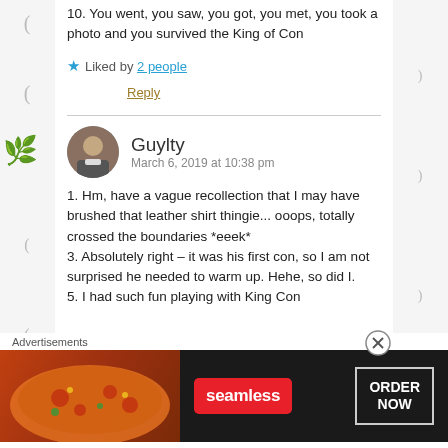10. You went, you saw, you got, you met, you took a photo and you survived the King of Con
★ Liked by 2 people
Reply
Guylty  March 6, 2019 at 10:38 pm
1. Hm, have a vague recollection that I may have brushed that leather shirt thingie... ooops, totally crossed the boundaries *eeek* 3. Absolutely right – it was his first con, so I am not surprised he needed to warm up. Hehe, so did I. 5. I had such fun playing with King Con
Advertisements
[Figure (screenshot): Seamless food delivery advertisement banner with pizza image on left, Seamless red logo in center, and ORDER NOW button on right, dark background]